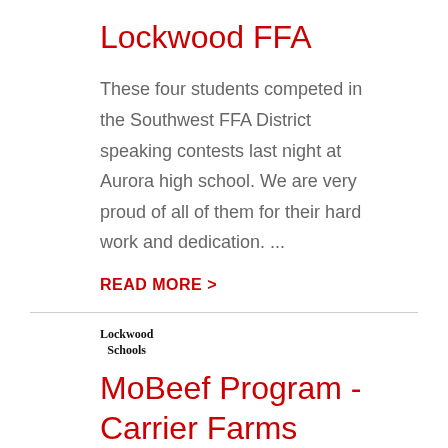Lockwood FFA
These four students competed in the Southwest FFA District speaking contests last night at Aurora high school. We are very proud of all of them for their hard work and dedication. ...
READ MORE >
[Figure (logo): Lockwood Schools logo text]
MoBeef Program - Carrier Farms
This year Lockwood High School started participating in the MoBeef program.